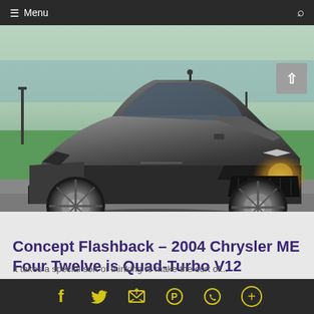Menu
[Figure (photo): A silver Chrysler ME Four Twelve concept car photographed outdoors near a waterfront with green grass and lamp posts in the background.]
Concept Flashback – 2004 Chrysler ME Four Twelve is Quad-Turbo V12 Hypercar Excess
June 14, 2014, 5 pm by Tom Burkart
Social share bar with icons: Facebook, Twitter, Email, Pinterest, WhatsApp, More